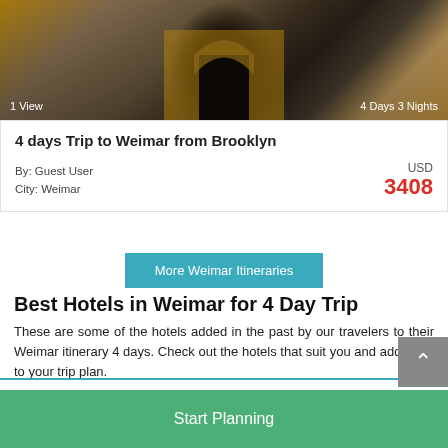[Figure (photo): Archway/gate building in Weimar, tan/brown stone architecture with arched entrance. Overlaid text: '1 View' bottom-left, '4 Days 3 Nights' bottom-right.]
4 days Trip to Weimar from Brooklyn
By: Guest User
City: Weimar
USD
3408
More Weimar Itineraries
Best Hotels in Weimar for 4 Day Trip
These are some of the hotels added in the past by our travelers to their Weimar itinerary 4 days. Check out the hotels that suit you and add them to your trip plan.
Start Planning